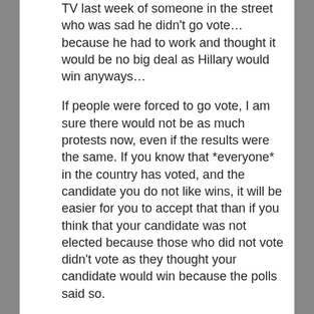TV last week of someone in the street who was sad he didn't go vote…because he had to work and thought it would be no big deal as Hillary would win anyways…
If people were forced to go vote, I am sure there would not be as much protests now, even if the results were the same. If you know that "everyone" in the country has voted, and the candidate you do not like wins, it will be easier for you to accept that than if you think that your candidate was not elected because those who did not vote didn't vote as they thought your candidate would win because the polls said so.